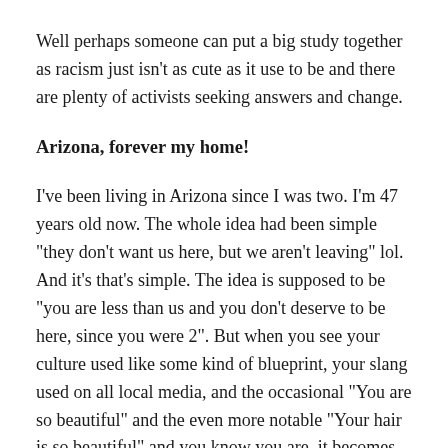Well perhaps someone can put a big study together as racism just isn’t as cute as it use to be and there are plenty of activists seeking answers and change.
Arizona, forever my home!
I’ve been living in Arizona since I was two. I’m 47 years old now. The whole idea had been simple “they don’t want us here, but we aren’t leaving” lol. And it’s that’s simple. The idea is supposed to be “you are less than us and you don’t deserve to be here, since you were 2”. But when you see your culture used like some kind of blueprint, your slang used on all local media, and the occasional “You are so beautiful” and the even more notable “Your hair is so beautiful” and you know you are, it becomes clear, you are the victim of envious racism.
Envious Racism